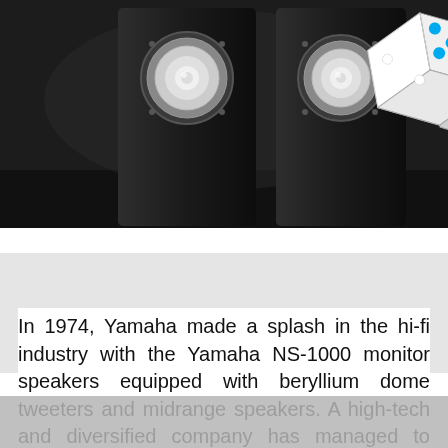[Figure (photo): Two black Yamaha NS-1000 monitor speakers on dark background, with a 3D rendered dice showing blue dots in the upper right corner]
In 1974, Yamaha made a splash in the hi-fi industry with the Yamaha NS-1000 monitor speakers equipped with beryllium dome tweeters and midrange speakers. A high-tech and diversified company has managed to “cope” with this promising, but capricious material in processing,